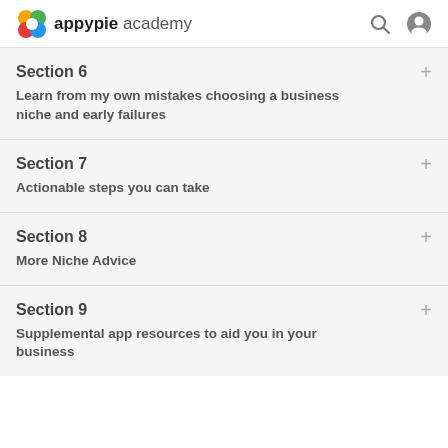appypie academy
Section 6
Learn from my own mistakes choosing a business niche and early failures
Section 7
Actionable steps you can take
Section 8
More Niche Advice
Section 9
Supplemental app resources to aid you in your business